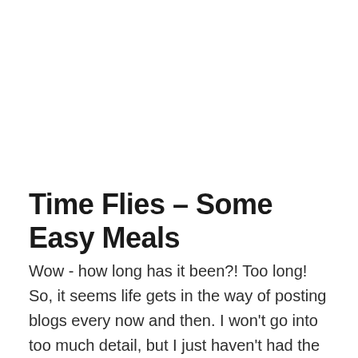Time Flies – Some Easy Meals
Wow - how long has it been?! Too long! So, it seems life gets in the way of posting blogs every now and then. I won't go into too much detail, but I just haven't had the